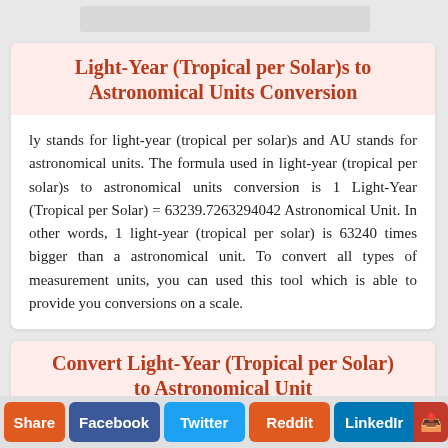Light-Year (Tropical per Solar)s to Astronomical Units Conversion
ly stands for light-year (tropical per solar)s and AU stands for astronomical units. The formula used in light-year (tropical per solar)s to astronomical units conversion is 1 Light-Year (Tropical per Solar) = 63239.7263294042 Astronomical Unit. In other words, 1 light-year (tropical per solar) is 63240 times bigger than a astronomical unit. To convert all types of measurement units, you can used this tool which is able to provide you conversions on a scale.
Convert Light-Year (Tropical per Solar) to Astronomical Unit
Share  Facebook  Twitter  Reddit  LinkedIn